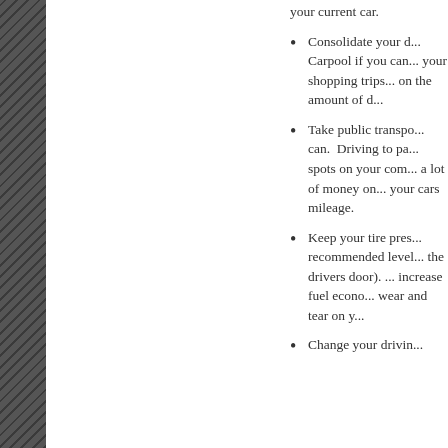your current car.
Consolidate your d... Carpool if you can... your shopping trips... on the amount of d...
Take public transpo... can. Driving to pa... spots on your com... a lot of money on... your cars mileage.
Keep your tire pres... recommended level... the drivers door).... increase fuel econo... wear and tear on y...
Change your drivin...
Search for
1. Save Money on Gas
2. Budget Template